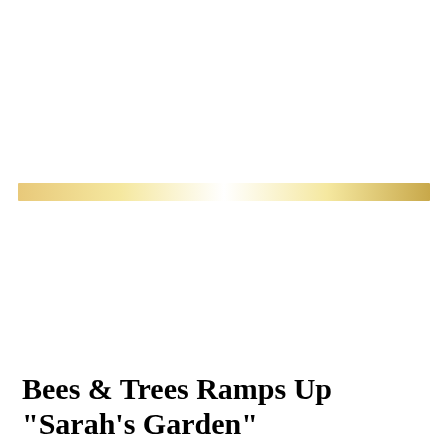[Figure (other): A horizontal golden/yellow gradient bar spanning most of the page width]
Bees & Trees Ramps Up "Sarah's Garden"